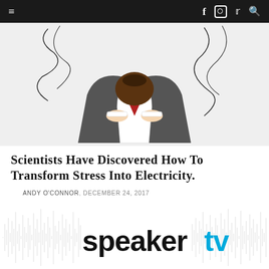≡  f  ⊙  𝕏  🔍
[Figure (illustration): Illustration of a stressed businessman seen from above, head down on desk, wearing a dark suit and red tie, with curly lines suggesting stress or chaos around him, on a light gray background.]
Scientists Have Discovered How To Transform Stress Into Electricity.
ANDY O'CONNOR, DECEMBER 24, 2017
[Figure (logo): SpeakerTV logo with audio waveform background. The word 'speaker' appears in black bold sans-serif and 'tv' in cyan/blue bold sans-serif. Behind the logo is a dense white/gray audio waveform visualization on a white background.]